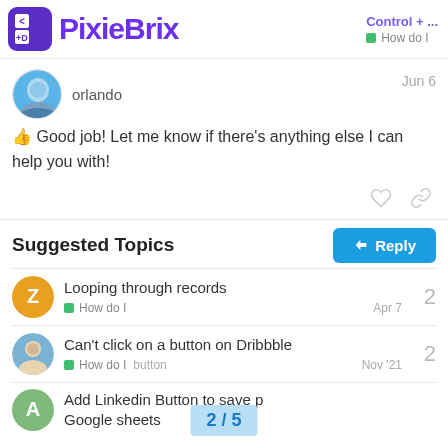PixieBrix — Control + ... | How do I
orlando   Jun 6
👍 Good job! Let me know if there's anything else I can help you with!
Suggested Topics
Looping through records — How do I — Apr 7 — 2 replies
Can't click on a button on Dribbble — How do I, button — Nov '21 — 2 replies
Add Linkedin Button to save p... Google sheets — 2 / 5